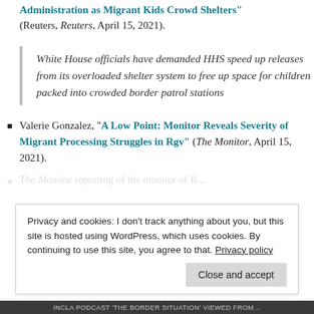Administration as Migrant Kids Crowd Shelters" (Reuters, Reuters, April 15, 2021).
White House officials have demanded HHS speed up releases from its overloaded shelter system to free up space for children packed into crowded border patrol stations
Valerie Gonzalez, “A Low Point: Monitor Reveals Severity of Migrant Processing Struggles in Rgv” (The Monitor, April 15, 2021).
Privacy and cookies: I don't track anything about you, but this site is hosted using WordPress, which uses cookies. By continuing to use this site, you agree to that. Privacy policy
INCLA PODCAST 'THE BORDER SITUATION' VIEWED FROM...